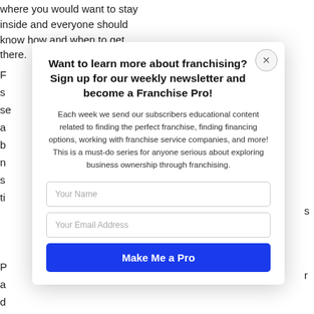where you would want to stay inside and everyone should know how and when to get there.
F... s... se... a... b... n... sp... ti...
[Figure (screenshot): Modal popup with newsletter signup form. Contains title 'Want to learn more about franchising? Sign up for our weekly newsletter and become a Franchise Pro!', body text, name field, email field, and submit button.]
P... a... d... u... w... d...